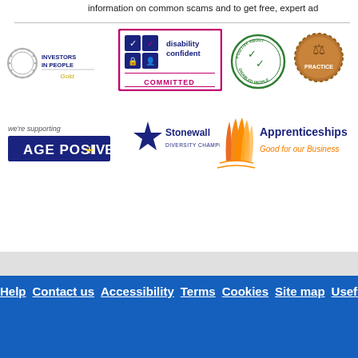information on common scams and to get free, expert ad
[Figure (logo): Investors in People Gold logo]
[Figure (logo): Disability Confident Committed logo]
[Figure (logo): Positive About Disabled People logo]
[Figure (logo): Practice bronze medal logo]
[Figure (logo): We're supporting Age Positive logo]
[Figure (logo): Stonewall Diversity Champion logo]
[Figure (logo): Apprenticeships Good for our Business logo]
Help  Contact us  Accessibility  Terms  Cookies  Site map  Useful